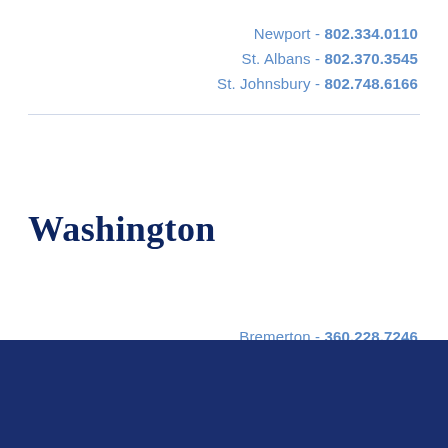Newport - 802.334.0110
St. Albans - 802.370.3545
St. Johnsbury - 802.748.6166
Washington
Bremerton - 360.228.7246
Port Angeles - 360.395.2976